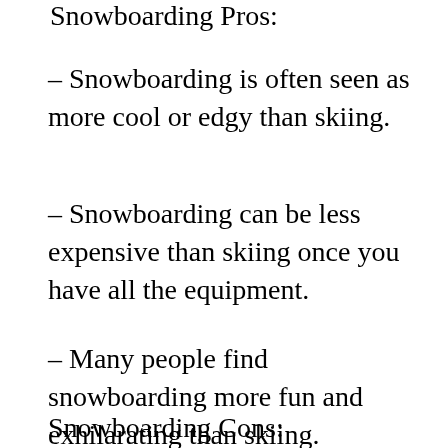Snowboarding Pros:
– Snowboarding is often seen as more cool or edgy than skiing.
– Snowboarding can be less expensive than skiing once you have all the equipment.
– Many people find snowboarding more fun and exhilarating than skiing.
Snowboarding Cons: